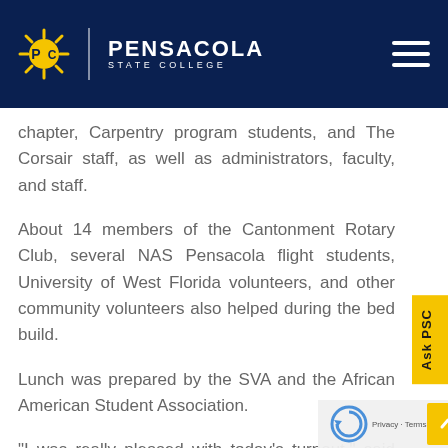PSC | PENSACOLA STATE COLLEGE
chapter, Carpentry program students, and The Corsair staff, as well as administrators, faculty, and staff.
About 14 members of the Cantonment Rotary Club, several NAS Pensacola flight students, University of West Florida volunteers, and other community volunteers also helped during the bed build.
Lunch was prepared by the SVA and the African American Student Association.
“I was really pleased with today’s turnout,” said Liz Moseley, director of PSC’s Student Resource Center for ADA Services. “If our students want to do this again, I would love to